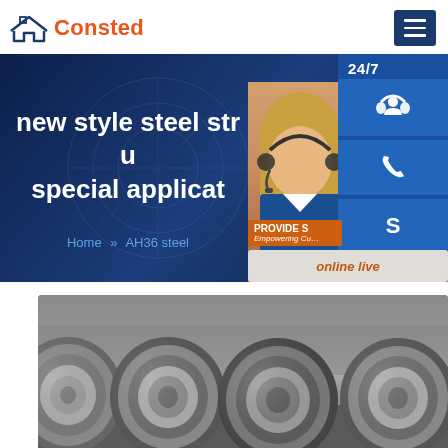Consted
new style steel structure special application
Home » AH36 steel
[Figure (screenshot): Customer service widget panel with 24/7 support icon, phone icon, Skype icon, and online live button]
[Figure (photo): Steel coils stacked in a warehouse/factory]